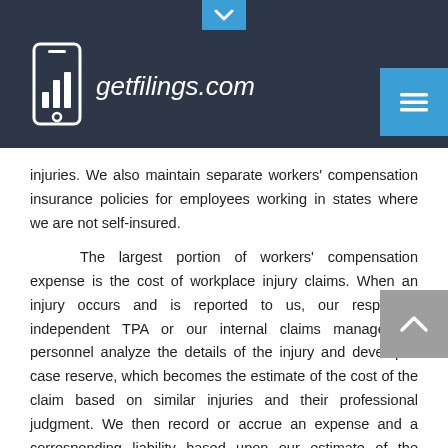getfilings.com
injuries. We also maintain separate workers' compensation insurance policies for employees working in states where we are not self-insured.
The largest portion of workers' compensation expense is the cost of workplace injury claims. When an injury occurs and is reported to us, our respective independent TPA or our internal claims management personnel analyze the details of the injury and develop a case reserve, which becomes the estimate of the cost of the claim based on similar injuries and their professional judgment. We then record or accrue an expense and a corresponding liability based upon our estimate of the ultimate claim cost. As cash payments are made by our TPA against specific case reserves, the accrued liability is reduced by the corresponding payment amount. The TPA and our in-house claims administrators also review existing injury claims on an on-going basis